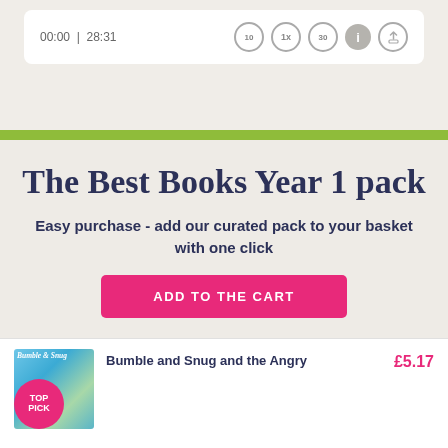[Figure (screenshot): Audio player bar showing time 00:00 | 28:31 with playback controls: back 10s, 1x speed, forward 30s, info button, share button]
The Best Books Year 1 pack
Easy purchase - add our curated pack to your basket with one click
ADD TO THE CART
[Figure (photo): Book cover for Bumble and Snug and the Angry Dragon with a TOP PICK badge]
Bumble and Snug and the Angry
£5.17